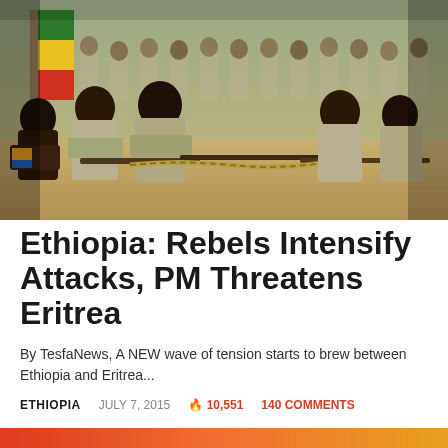[Figure (photo): Rows of soldiers or rebels in khaki/olive uniforms seated on the ground, holding rifles and ammunition belts, with an Ethiopian flag visible in the background. Outdoor setting on a dirt surface.]
Ethiopia: Rebels Intensify Attacks, PM Threatens Eritrea
By TesfaNews, A NEW wave of tension starts to brew between Ethiopia and Eritrea...
ETHIOPIA   JULY 7, 2015   🔥 10,551   140 COMMENTS